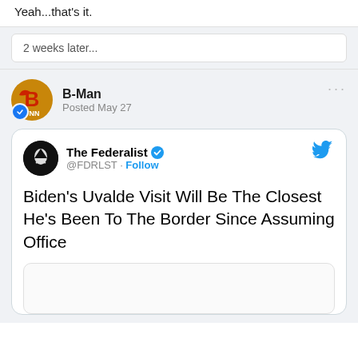Yeah...that's it.
2 weeks later...
B-Man
Posted May 27
[Figure (screenshot): Tweet from The Federalist (@FDRLST) with text: Biden's Uvalde Visit Will Be The Closest He's Been To The Border Since Assuming Office]
Biden's Uvalde Visit Will Be The Closest He's Been To The Border Since Assuming Office